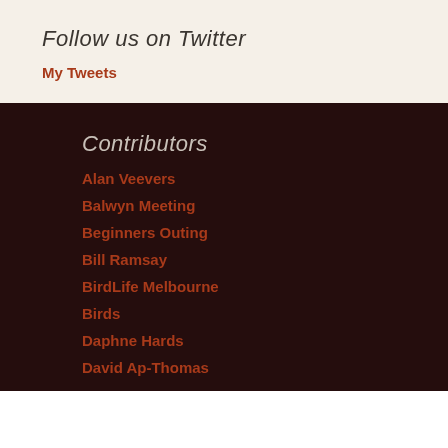Follow us on Twitter
My Tweets
Contributors
Alan Veevers
Balwyn Meeting
Beginners Outing
Bill Ramsay
BirdLife Melbourne
Birds
Daphne Hards
David Ap-Thomas